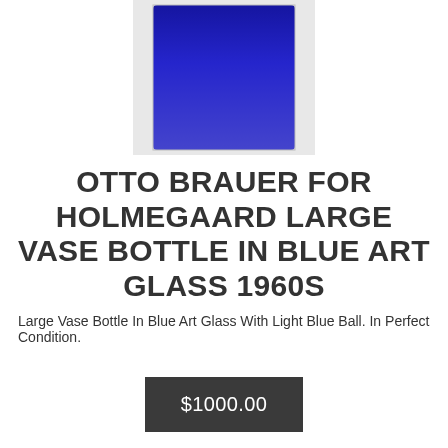[Figure (photo): Blue art glass vase bottle, cobalt blue color, photographed from above on white background]
OTTO BRAUER FOR HOLMEGAARD LARGE VASE BOTTLE IN BLUE ART GLASS 1960S
Large Vase Bottle In Blue Art Glass With Light Blue Ball. In Perfect Condition.
$1000.00
[Figure (photo): Turquoise/teal ceramic or glass chess pawn-like piece on black background]